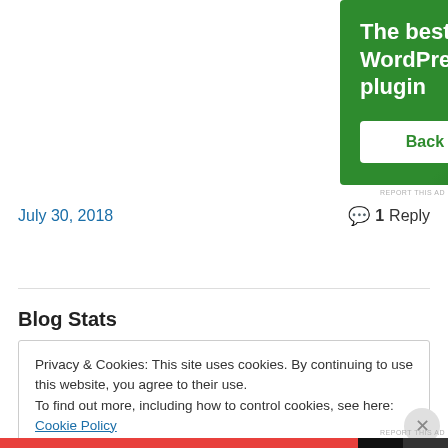[Figure (advertisement): Green WordPress backup plugin ad banner with white bold text 'The best real-time WordPress backup plugin' and white button 'Back up your site']
REPORT THIS AD
July 30, 2018
1 Reply
Blog Stats
Privacy & Cookies: This site uses cookies. By continuing to use this website, you agree to their use.
To find out more, including how to control cookies, see here: Cookie Policy
Close and accept
REPORT THIS AD